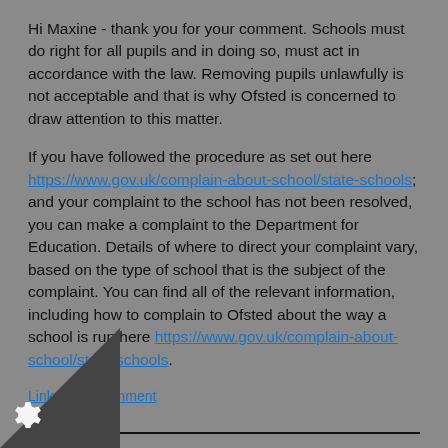Hi Maxine - thank you for your comment. Schools must do right for all pupils and in doing so, must act in accordance with the law. Removing pupils unlawfully is not acceptable and that is why Ofsted is concerned to draw attention to this matter.
If you have followed the procedure as set out here https://www.gov.uk/complain-about-school/state-schools; and your complaint to the school has not been resolved, you can make a complaint to the Department for Education. Details of where to direct your complaint vary, based on the type of school that is the subject of the complaint. You can find all of the relevant information, including how to complain to Ofsted about the way a school is run here https://www.gov.uk/complain-about-school/state-schools.
Link to this comment
About 'Ofsted blog: schools, early years, further education and skills'
…ng will look at the way Ofsted inspects education, from